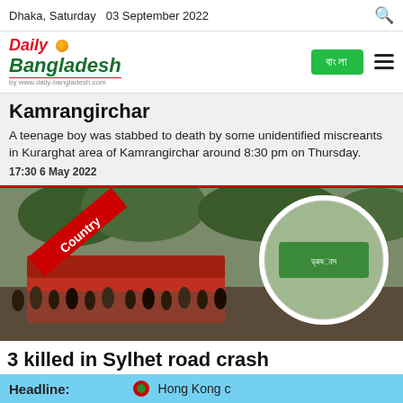Dhaka, Saturday   03 September 2022
[Figure (logo): Daily Bangladesh newspaper logo with red 'Daily' text and green 'Bangladesh' text, orange circle decoration, and green Bangla button]
Kamrangirchar
A teenage boy was stabbed to death by some unidentified miscreants in Kurarghat area of Kamrangirchar around 8:30 pm on Thursday.
17:30 6 May 2022
[Figure (photo): Road crash scene in Sylhet with crowd of people, crashed vehicles, and circular inset showing a sign, with red diagonal 'Country' ribbon badge]
3 killed in Sylhet road crash
Three passengers of an autorickshaw and a motorcycle were killed when they hit the...in Sylhet. However, the identities of
Headline:   Hong Kong c